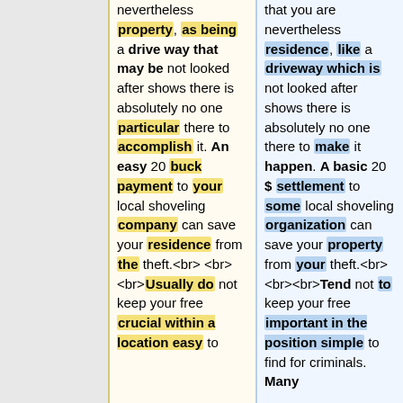nevertheless property, as being a drive way that may be not looked after shows there is absolutely no one particular there to accomplish it. An easy 20 buck payment to your local shoveling company can save your residence from the theft.<br><br>Usually do not keep your free crucial within a location easy to
that you are nevertheless residence, like a driveway which is not looked after shows there is absolutely no one there to make it happen. A basic 20 $ settlement to some local shoveling organization can save your property from your theft.<br><br><br>Tend not to keep your free important in the position simple to find for criminals. Many